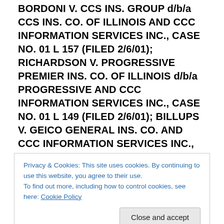BORDONI V. CCS INS. GROUP d/b/a CCS INS. CO. OF ILLINOIS AND CCC INFORMATION SERVICES INC., CASE NO. 01 L 157 (FILED 2/6/01); RICHARDSON V. PROGRESSIVE PREMIER INS. CO. OF ILLINOIS d/b/a PROGRESSIVE AND CCC INFORMATION SERVICES INC., CASE NO. 01 L 149 (FILED 2/6/01); BILLUPS V. GEICO GENERAL INS. CO. AND CCC INFORMATION SERVICES INC., CASE NO. 01 L 159 (FILED 2/6/01); HUFF V. HARTFORD INS. CO. OF ILLINOIS d/b/a THE HARTFORD AND CCC INFORMATION SERVICES INC., CASE NO. 01 L 158 (FILED 2/6/01); KNACKSTEDT V. ST.
Privacy & Cookies: This site uses cookies. By continuing to use this website, you agree to their use.
To find out more, including how to control cookies, see here: Cookie Policy
CO. d/b/a KEMPER INSURANCE AND CCC